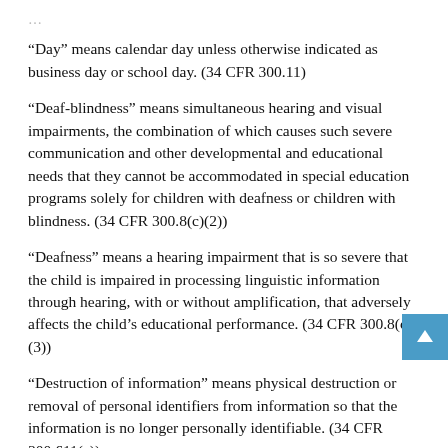“Day” means calendar day unless otherwise indicated as business day or school day. (34 CFR 300.11)
“Deaf-blindness” means simultaneous hearing and visual impairments, the combination of which causes such severe communication and other developmental and educational needs that they cannot be accommodated in special education programs solely for children with deafness or children with blindness. (34 CFR 300.8(c)(2))
“Deafness” means a hearing impairment that is so severe that the child is impaired in processing linguistic information through hearing, with or without amplification, that adversely affects the child’s educational performance. (34 CFR 300.8(c)(3))
“Destruction of information” means physical destruction or removal of personal identifiers from information so that the information is no longer personally identifiable. (34 CFR 300.611(a))